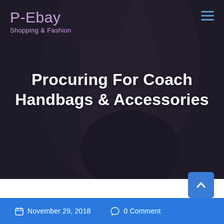P-Ebay
Shopping & Fashion
Procuring For Coach Handbags & Accessories
[Figure (photo): Dark blurred background photo of a person holding handbags, with a dark overlay]
November 29, 2018  0 Comment